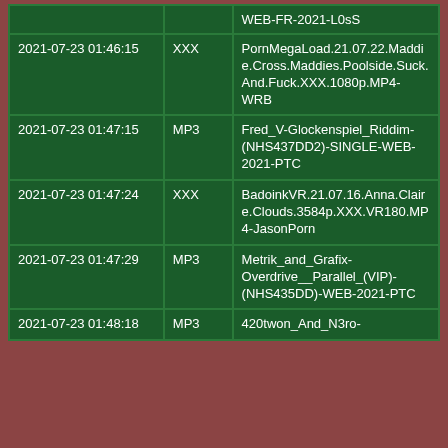|  |  | WEB-FR-2021-L0sS |
| 2021-07-23 01:46:15 | XXX | PornMegaLoad.21.07.22.Maddie.Cross.Maddies.Poolside.Suck.And.Fuck.XXX.1080p.MP4-WRB |
| 2021-07-23 01:47:15 | MP3 | Fred_V-Glockenspiel_Riddim-(NHS437DD2)-SINGLE-WEB-2021-PTC |
| 2021-07-23 01:47:24 | XXX | BadoinkVR.21.07.16.Anna.Claire.Clouds.3584p.XXX.VR180.MP4-JasonPorn |
| 2021-07-23 01:47:29 | MP3 | Metrik_and_Grafix-Overdrive__Parallel_(VIP)-(NHS435DD)-WEB-2021-PTC |
| 2021-07-23 01:48:18 | MP3 | 420twon_And_N3ro- |